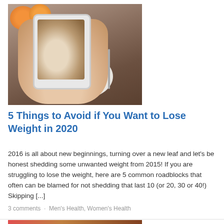[Figure (photo): A hand holding a smartphone taking a photo of a plate of fruit/food on a dark wooden table, with oranges visible in the background.]
5 Things to Avoid if You Want to Lose Weight in 2020
2016 is all about new beginnings, turning over a new leaf and let's be honest shedding some unwanted weight from 2015! If you are struggling to lose the weight, here are 5 common roadblocks that often can be blamed for not shedding that last 10 (or 20, 30 or 40!) Skipping [...]
3 comments · Men's Health, Women's Health
[Figure (photo): Partial view of another article's photo at the bottom of the page.]